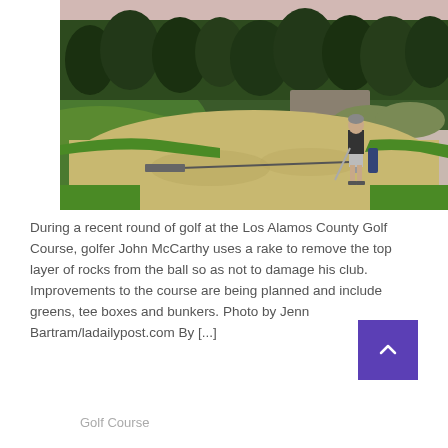[Figure (photo): A golfer using a rake in a sand bunker at the Los Alamos County Golf Course, surrounded by green grass, trees, and shrubs in the background.]
During a recent round of golf at the Los Alamos County Golf Course, golfer John McCarthy uses a rake to remove the top layer of rocks from the ball so as not to damage his club. Improvements to the course are being planned and include greens, tee boxes and bunkers. Photo by Jenn Bartram/ladailypost.com By [...]
Golf Course